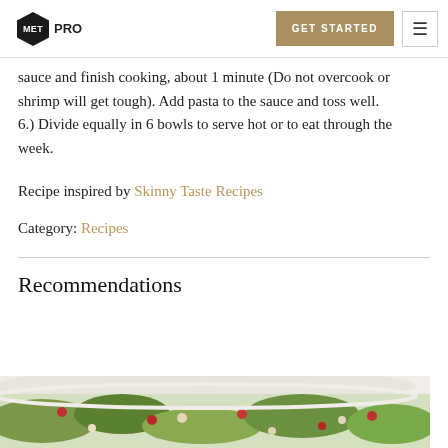MET PRO | GET STARTED
sauce and finish cooking, about 1 minute (Do not overcook or shrimp will get tough). Add pasta to the sauce and toss well.
6.) Divide equally in 6 bowls to serve hot or to eat through the week.
Recipe inspired by Skinny Taste Recipes
Category: Recipes
Recommendations
[Figure (photo): A bowl of salad with greens, red cranberries, and light-colored ingredients visible at the bottom of the page.]